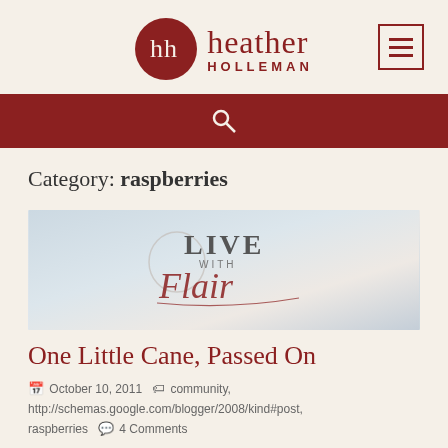heather HOLLEMAN
Category: raspberries
[Figure (logo): Live with Flair blog post header image with cursive and serif text on light blue-grey background]
One Little Cane, Passed On
October 10, 2011  community, http://schemas.google.com/blogger/2008/kind#post, raspberries  4 Comments